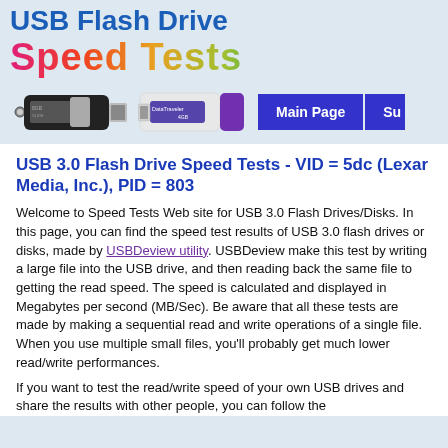USB Flash Drive Speed Tests
[Figure (photo): Two USB flash drives: a black USB drive on the left and a white Kingston DataTraveler USB drive with purple accent on the right, plus a navigation button labeled 'Main Page']
USB 3.0 Flash Drive Speed Tests - VID = 5dc (Lexar Media, Inc.), PID = 803
Welcome to Speed Tests Web site for USB 3.0 Flash Drives/Disks. In this page, you can find the speed test results of USB 3.0 flash drives or disks, made by USBDeview utility. USBDeview make this test by writing a large file into the USB drive, and then reading back the same file to getting the read speed. The speed is calculated and displayed in Megabytes per second (MB/Sec). Be aware that all these tests are made by making a sequential read and write operations of a single file. When you use multiple small files, you'll probably get much lower read/write performances.
If you want to test the read/write speed of your own USB drives and share the results with other people, you can follow the